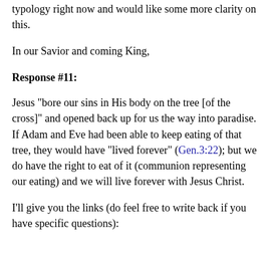typology right now and would like some more clarity on this.
In our Savior and coming King,
Response #11:
Jesus "bore our sins in His body on the tree [of the cross]" and opened back up for us the way into paradise. If Adam and Eve had been able to keep eating of that tree, they would have "lived forever" (Gen.3:22); but we do have the right to eat of it (communion representing our eating) and we will live forever with Jesus Christ.
I'll give you the links (do feel free to write back if you have specific questions):